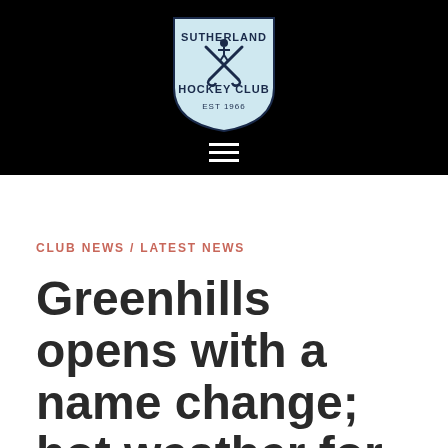[Figure (logo): Sutherland Hockey Club shield logo with crossed hockey sticks and text 'SUTHERLAND HOCKEY CLUB EST 1966' on light blue shield background, centered on black header bar with hamburger menu icon below]
CLUB NEWS / LATEST NEWS
Greenhills opens with a name change; hot weather for all our